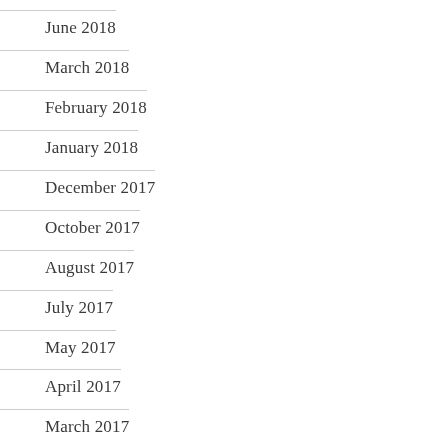June 2018
March 2018
February 2018
January 2018
December 2017
October 2017
August 2017
July 2017
May 2017
April 2017
March 2017
February 2017
January 2017
November 2016